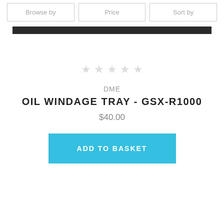Browse by | Price | Sort by
[Figure (other): Black horizontal bar, partial product image background]
[Figure (other): Five empty/light gray star rating icons]
DME
OIL WINDAGE TRAY - GSX-R1000
$40.00
ADD TO BASKET